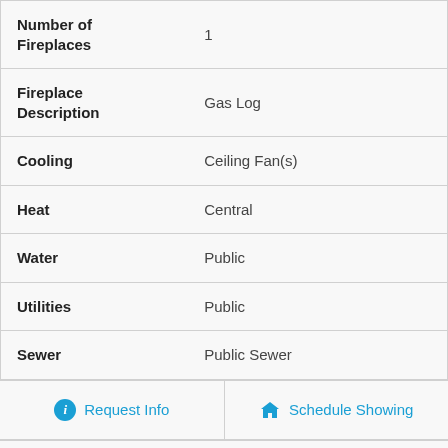| Property | Value |
| --- | --- |
| Number of Fireplaces | 1 |
| Fireplace Description | Gas Log |
| Cooling | Ceiling Fan(s) |
| Heat | Central |
| Water | Public |
| Utilities | Public |
| Sewer | Public Sewer |
Request Info
Schedule Showing
Add to Favorites